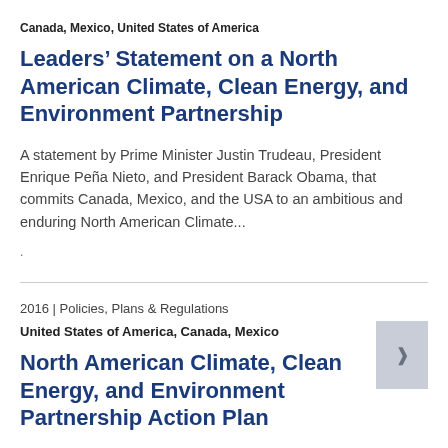Canada, Mexico, United States of America
Leaders’ Statement on a North American Climate, Clean Energy, and Environment Partnership
A statement by Prime Minister Justin Trudeau, President Enrique Peña Nieto, and President Barack Obama, that commits Canada, Mexico, and the USA to an ambitious and enduring North American Climate...
.
2016 | Policies, Plans & Regulations
United States of America, Canada, Mexico
North American Climate, Clean Energy, and Environment Partnership Action Plan